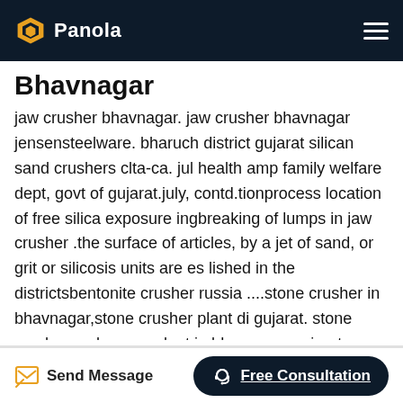Panola
Bhavnagar
jaw crusher bhavnagar. jaw crusher bhavnagar jensensteelware. bharuch district gujarat silican sand crushers clta-ca. jul health amp family welfare dept, govt of gujarat.july, contd.tionprocess location of free silica exposure ingbreaking of lumps in jaw crusher .the surface of articles, by a jet of sand, or grit or silicosis units are es lished in the districtsbentonite crusher russia ....stone crusher in bhavnagar,stone crusher plant di gujarat. stone crusher and quarry plant in bhavnagar gujarat united stone crusher machine in gujarat ukwufoundationconcrete batching plant price list 100 tph hot mix asphalt plant spare parts 200tph 6 000 lb be65x510 02 batch tower 100 hp
Send Message | Free Consultation